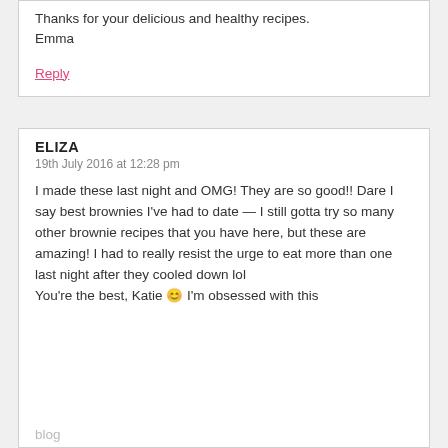Thanks for your delicious and healthy recipes.
Emma
Reply
ELIZA
19th July 2016 at 12:28 pm
I made these last night and OMG! They are so good!! Dare I say best brownies I’ve had to date — I still gotta try so many other brownie recipes that you have here, but these are amazing! I had to really resist the urge to eat more than one last night after they cooled down lol
You’re the best, Katie 😊 I’m obsessed with this
blog